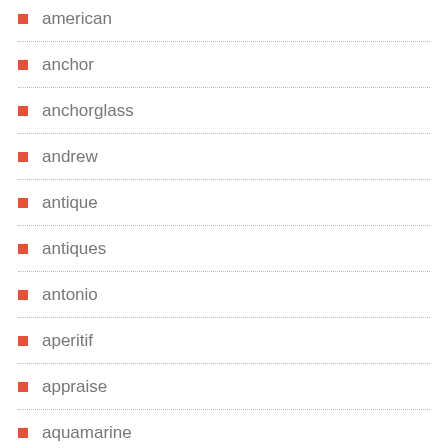american
anchor
anchorglass
andrew
antique
antiques
antonio
aperitif
appraise
aquamarine
archimede